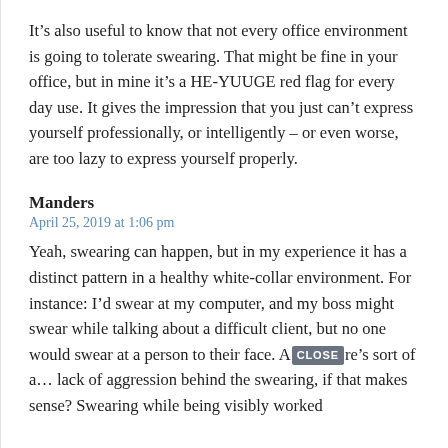It’s also useful to know that not every office environment is going to tolerate swearing. That might be fine in your office, but in mine it’s a HE-YUUGE red flag for every day use. It gives the impression that you just can’t express yourself professionally, or intelligently – or even worse, are too lazy to express yourself properly.
Manders
April 25, 2019 at 1:06 pm
Yeah, swearing can happen, but in my experience it has a distinct pattern in a healthy white-collar environment. For instance: I’d swear at my computer, and my boss might swear while talking about a difficult client, but no one would swear at a person to their face. A[CLOSE]re’s sort of a… lack of aggression behind the swearing, if that makes sense? Swearing while being visibly worked